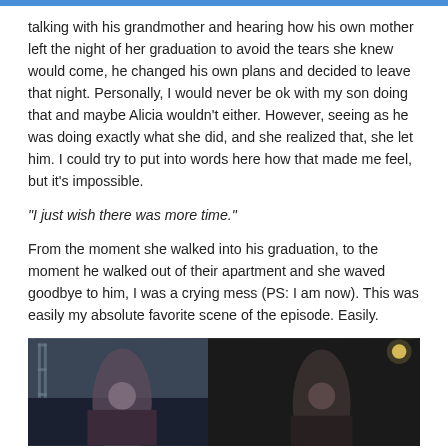talking with his grandmother and hearing how his own mother left the night of her graduation to avoid the tears she knew would come, he changed his own plans and decided to leave that night. Personally, I would never be ok with my son doing that and maybe Alicia wouldn't either. However, seeing as he was doing exactly what she did, and she realized that, she let him. I could try to put into words here how that made me feel, but it's impossible.
“I just wish there was more time.”
From the moment she walked into his graduation, to the moment he walked out of their apartment and she waved goodbye to him, I was a crying mess (PS: I am now). This was easily my absolute favorite scene of the episode. Easily.
[Figure (screenshot): A dark screenshot from a TV show or film showing two figures in a dimly lit interior scene. The left side shows a figure near a window with light visible, and the right side is darker with a warm light source visible in the upper right.]